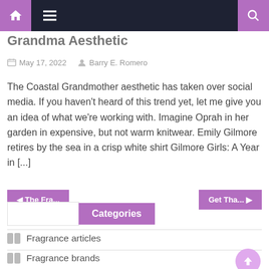Navigation bar with home, menu, and search icons
Grandma Aesthetic
May 17, 2022   Barry E. Romero
The Coastal Grandmother aesthetic has taken over social media. If you haven't heard of this trend yet, let me give you an idea of what we're working with. Imagine Oprah in her garden in expensive, but not warm knitwear. Emily Gilmore retires by the sea in a crisp white shirt Gilmore Girls: A Year in [...]
◀ The Fra...
Get Tha... ▶
Categories
Fragrance articles
Fragrance brands
Fragrance products